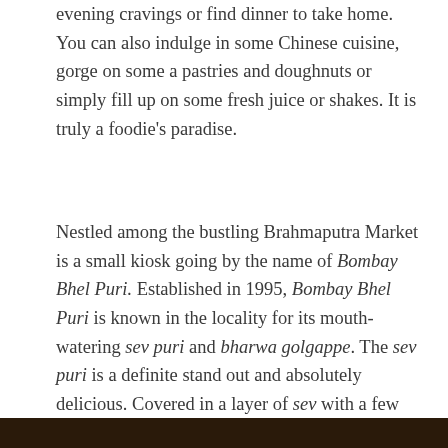evening cravings or find dinner to take home. You can also indulge in some Chinese cuisine, gorge on some a pastries and doughnuts or simply fill up on some fresh juice or shakes. It is truly a foodie's paradise.
Nestled among the bustling Brahmaputra Market is a small kiosk going by the name of Bombay Bhel Puri. Established in 1995, Bombay Bhel Puri is known in the locality for its mouth-watering sev puri and bharwa golgappe. The sev puri is a definite stand out and absolutely delicious. Covered in a layer of sev with a few coriander sprinkled over it, it appears to be nothing special at first sight. But as one begins to dig in, various other ingredients are revealed. A plate of sev puri consists of 7 papris topped up with generous servings of aloo, onions, imli chutney and sev. Every bite of this savoury is a burst of flavours and absolutely heavenly.
[Figure (photo): Bottom strip of a food photo, showing dark background]